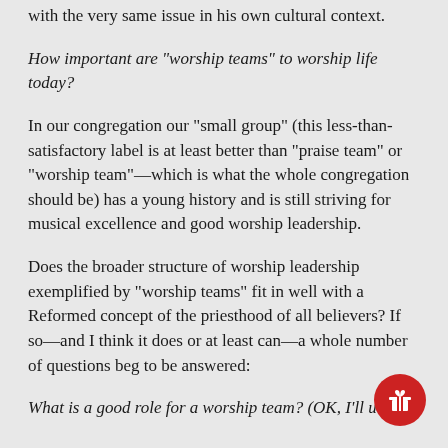with the very same issue in his own cultural context.
How important are "worship teams" to worship life today?
In our congregation our "small group" (this less-than-satisfactory label is at least better than "praise team" or "worship team"—which is what the whole congregation should be) has a young history and is still striving for musical excellence and good worship leadership.
Does the broader structure of worship leadership exemplified by "worship teams" fit in well with a Reformed concept of the priesthood of all believers? If so—and I think it does or at least can—a whole number of questions beg to be answered:
What is a good role for a worship team? (OK, I'll use the term because it will communicate.) How are worship teams best nurtured, developed, led, to take a